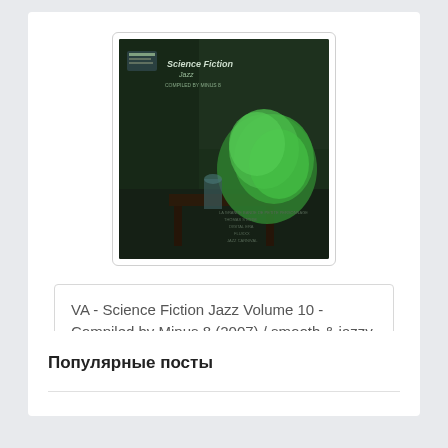[Figure (photo): Album cover for Science Fiction Jazz Volume 10 - Compiled by Minus 8 (2007). Dark green background with room interior, glowing green plant/foliage, text reading 'Science Fiction Jazz' and 'Compiled by Minus 8'.]
VA - Science Fiction Jazz Volume 10 - Compiled by Minus 8 (2007) / smooth & jazzy, acid jazz, lounge, latino
Популярные посты